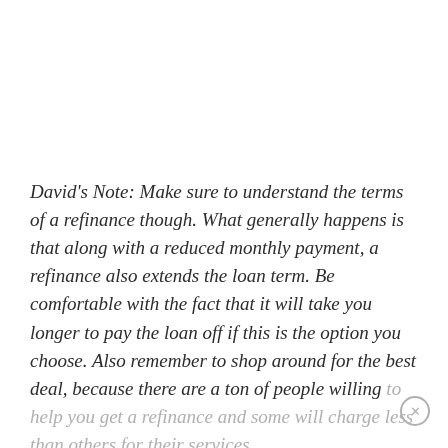David's Note: Make sure to understand the terms of a refinance though. What generally happens is that along with a reduced monthly payment, a refinance also extends the loan term. Be comfortable with the fact that it will take you longer to pay the loan off if this is the option you choose. Also remember to shop around for the best deal, because there are a ton of people willing to help you get a refinance and some will charge less than others for their services.